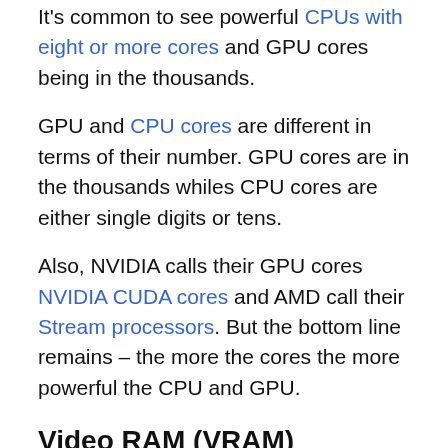It's common to see powerful CPUs with eight or more cores and GPU cores being in the thousands.
GPU and CPU cores are different in terms of their number. GPU cores are in the thousands whiles CPU cores are either single digits or tens.
Also, NVIDIA calls their GPU cores NVIDIA CUDA cores and AMD call their Stream processors. But the bottom line remains – the more the cores the more powerful the CPU and GPU.
Video RAM (VRAM)
Video RAM is similar to computer RAM. But this time, it's RAM your graphics card uses.